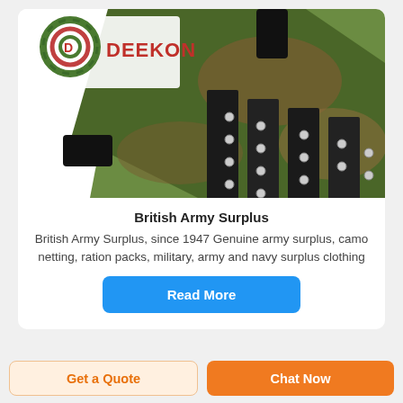[Figure (photo): Product photo showing British Army Surplus camouflage gear with black padding/vest material and metal rivets, with Deekon logo (red text DEEKON with circular camo target icon) in top-left corner]
British Army Surplus
British Army Surplus, since 1947 Genuine army surplus, camo netting, ration packs, military, army and navy surplus clothing
Read More
Get a Quote
Chat Now